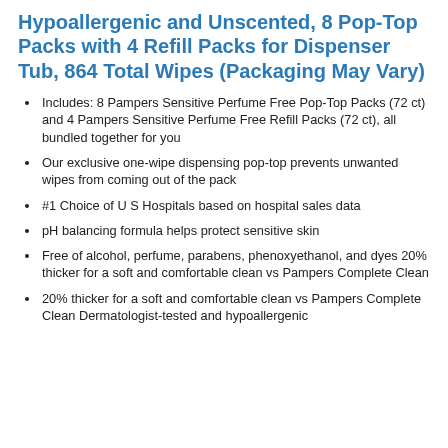Hypoallergenic and Unscented, 8 Pop-Top Packs with 4 Refill Packs for Dispenser Tub, 864 Total Wipes (Packaging May Vary)
Includes: 8 Pampers Sensitive Perfume Free Pop-Top Packs (72 ct) and 4 Pampers Sensitive Perfume Free Refill Packs (72 ct), all bundled together for you
Our exclusive one-wipe dispensing pop-top prevents unwanted wipes from coming out of the pack
#1 Choice of U S Hospitals based on hospital sales data
pH balancing formula helps protect sensitive skin
Free of alcohol, perfume, parabens, phenoxyethanol, and dyes 20% thicker for a soft and comfortable clean vs Pampers Complete Clean
20% thicker for a soft and comfortable clean vs Pampers Complete Clean Dermatologist-tested and hypoallergenic